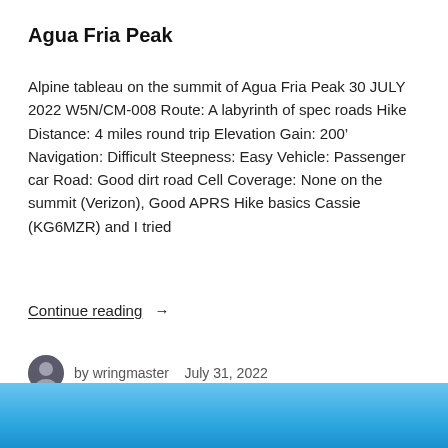Agua Fria Peak
Alpine tableau on the summit of Agua Fria Peak 30 JULY 2022 W5N/CM-008 Route: A labyrinth of spec roads Hike Distance: 4 miles round trip Elevation Gain: 200’ Navigation: Difficult Steepness: Easy Vehicle: Passenger car Road: Good dirt road Cell Coverage: None on the summit (Verizon), Good APRS Hike basics Cassie (KG6MZR) and I tried
Continue reading →
by wringmaster   July 31, 2022
[Figure (photo): Blue sky gradient banner at the bottom of the page]